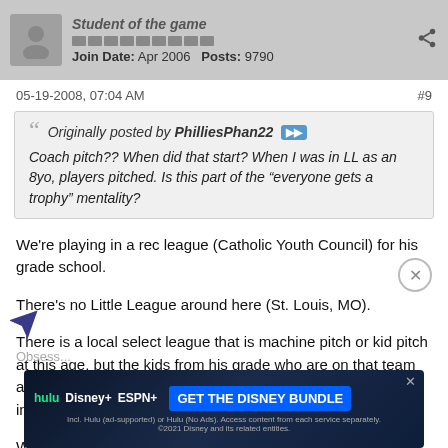Student of the game | Join Date: Apr 2006  Posts: 9790
05-19-2008, 07:04 AM  #9
Originally posted by PhilliesPhan22
Coach pitch?? When did that start? When I was in LL as an 8yo, players pitched. Is this part of the "everyone gets a trophy" mentality?
We're playing in a rec league (Catholic Youth Council) for his grade school.

There's no Little League around here (St. Louis, MO).

There is a local select league that is machine pitch or kid pitch at this age, but the kids from his grade who are on that team are playing in the gold level and are playing a ton of games, including tournaments.

We're not ready for that yet (nor do I think it's a good idea at this age)
Obsess...
[Figure (infographic): Hulu Disney+ ESPN+ advertisement: GET THE DISNEY BUNDLE. Incl. Hulu (ad-supported) or Hulu (No Ads). Access content from each service separately. ©2021 Disney and its related entities.]